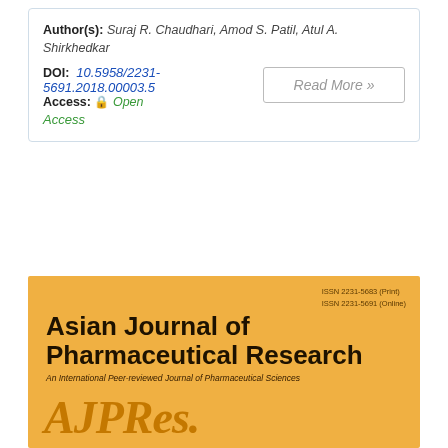Author(s): Suraj R. Chaudhari, Amod S. Patil, Atul A. Shirkhedkar
DOI: 10.5958/2231-5691.2018.00003.5  Access: 🔒 Open Access
Read More »
[Figure (logo): Asian Journal of Pharmaceutical Research journal cover with gold/yellow background, showing title 'Asian Journal of Pharmaceutical Research', subtitle 'An International Peer-reviewed Journal of Pharmaceutical Sciences', abbreviation 'AJPRes.', and ISSN numbers ISSN 2231-5683 (Print) and ISSN 2231-5691 (Online)]